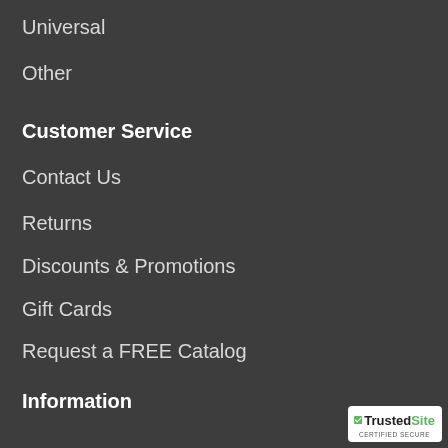Universal
Other
Customer Service
Contact Us
Returns
Discounts & Promotions
Gift Cards
Request a FREE Catalog
Information
Reviews
Trucker Tips Blog
Company History
Store Locations
[Figure (logo): TrustedSite Certified Secure badge]